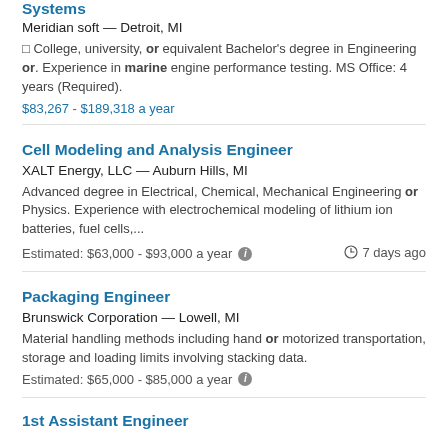Systems
Meridian soft — Detroit, MI
□ College, university, or equivalent Bachelor's degree in Engineering or. Experience in marine engine performance testing. MS Office: 4 years (Required).
$83,267 - $189,318 a year
Cell Modeling and Analysis Engineer
XALT Energy, LLC — Auburn Hills, MI
Advanced degree in Electrical, Chemical, Mechanical Engineering or Physics. Experience with electrochemical modeling of lithium ion batteries, fuel cells,...
Estimated: $63,000 - $93,000 a year    7 days ago
Packaging Engineer
Brunswick Corporation — Lowell, MI
Material handling methods including hand or motorized transportation, storage and loading limits involving stacking data.
Estimated: $65,000 - $85,000 a year
1st Assistant Engineer